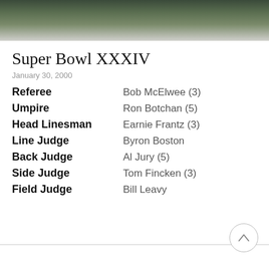[Figure (photo): Cropped photo of football players/people at a Super Bowl event, showing lower bodies in uniforms]
Super Bowl XXXIV
January 30, 2000
Referee   Bob McElwee (3)
Umpire   Ron Botchan (5)
Head Linesman   Earnie Frantz (3)
Line Judge   Byron Boston
Back Judge   Al Jury (5)
Side Judge   Tom Fincken (3)
Field Judge   Bill Leavy